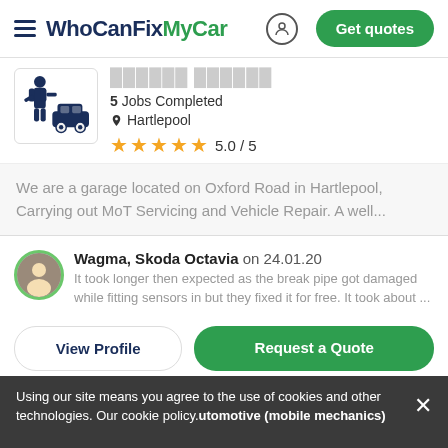WhoCanFixMyCar — Get quotes
5 Jobs Completed
Hartlepool
5.0 / 5
We are a garage located on Oxford Road in Hartlepool, Carrying out MoT Servicing and Vehicle Repair. A well...
Wagma, Skoda Octavia on 24.01.20
It took longer then expected as the break pipe got damaged while fitting sensors in but they fixed it for free. It took about ...
View Profile
Request a Quote
Using our site means you agree to the use of cookies and other technologies. Our cookie policy.utomotive (mobile mechanics)